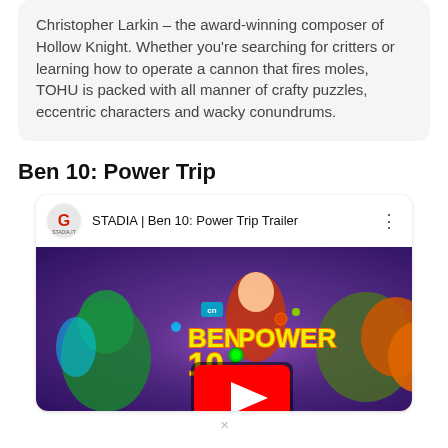Christopher Larkin – the award-winning composer of Hollow Knight. Whether you're searching for critters or learning how to operate a cannon that fires moles, TOHU is packed with all manner of crafty puzzles, eccentric characters and wacky conundrums.
Ben 10: Power Trip
[Figure (screenshot): YouTube video embed showing STADIA | Ben 10: Power Trip Trailer with Ben 10 characters and game logo on purple background, with a YouTube play button overlay]